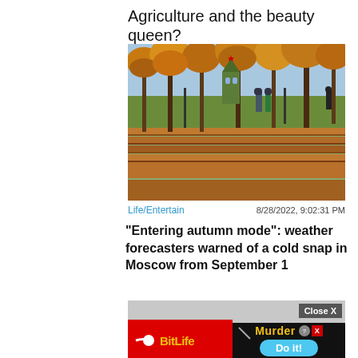Agriculture and the beauty queen?
[Figure (photo): Autumn park scene with orange-leafed trees, wooden bench terraces, and a Kremlin tower visible in the background. Two people walking on a path.]
Life/Entertain
8/28/2022, 9:02:31 PM
“Entering autumn mode”: weather forecasters warned of a cold snap in Moscow from September 1
[Figure (screenshot): BitLife mobile game advertisement showing Murder option with 'Do it!' button and Close X button]